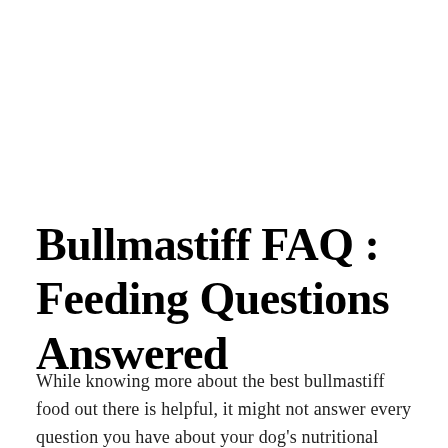Bullmastiff FAQ : Feeding Questions Answered
While knowing more about the best bullmastiff food out there is helpful, it might not answer every question you have about your dog's nutritional requirements. Fortunately, you don't need to wonder any longer—here are some of the